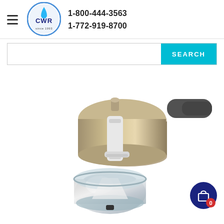1-800-444-3563 | 1-772-919-8700
[Figure (logo): CWR logo circle with water droplet and text 'since 1993']
[Figure (screenshot): Search bar with cyan SEARCH button]
[Figure (photo): Water filtration device - stainless steel cylindrical filter mounted over a round glass/stainless bowl, white bracket, hose attachment on right side]
[Figure (other): Shopping cart icon with 0 badge in dark blue circle, bottom right]